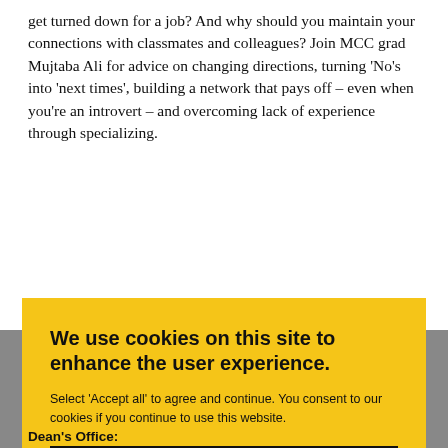get turned down for a job? And why should you maintain your connections with classmates and colleagues? Join MCC grad Mujtaba Ali for advice on changing directions, turning 'No's into 'next times', building a network that pays off – even when you're an introvert – and overcoming lack of experience through specializing.
We use cookies on this site to enhance the user experience.
Select 'Accept all' to agree and continue. You consent to our cookies if you continue to use this website.
ACCEPT ALL
Dean's Office: